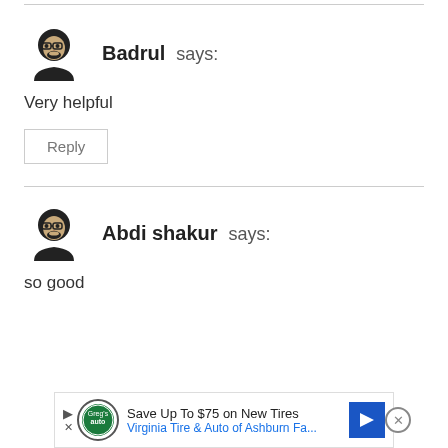[Figure (illustration): Avatar icon of a person with glasses and beard for user Badrul]
Badrul says:
Very helpful
Reply
[Figure (illustration): Avatar icon of a person with glasses and beard for user Abdi shakur]
Abdi shakur says:
so good
[Figure (screenshot): Advertisement banner: Save Up To $75 on New Tires - Virginia Tire & Auto of Ashburn Fa...]